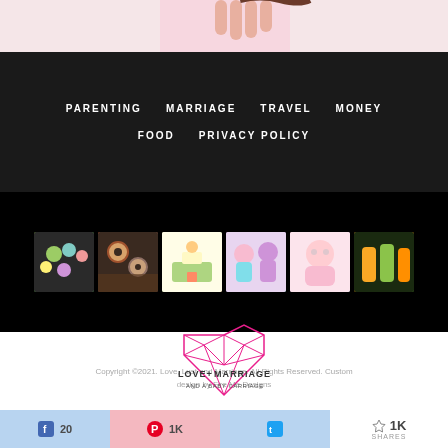[Figure (photo): Top partial photo of person(s) with pink background, cropped]
PARENTING
MARRIAGE
TRAVEL
MONEY
FOOD
PRIVACY POLICY
[Figure (photo): Row of 6 thumbnail photos: colorful macarons/food, donuts/baked goods, baking items, children playing, baby, drinks/juice bottles]
[Figure (logo): Love and Marriage diamond heart logo with text LOVE+MARRIAGE and AND A BABY CARRIAGE]
Copyright ©2021. Love, Lust and Marriage. All Rights Reserved. Custom design by Fire Me Designs
20  1K  1K SHARES